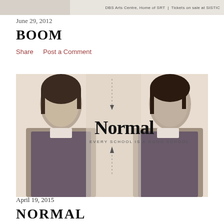[Figure (photo): Top banner image showing partial DBS Arts Centre advertisement, with text 'DBS Arts Centre, Home of SRT | Tickets on sale at SISTIC']
June 29, 2012
BOOM
Share    Post a Comment
[Figure (photo): Promotional image for theatre production 'Normal - Every School is a Good School'. Two young Asian women in school uniforms (white shirts with dark pinafores) facing forward with serious expressions. The word 'Normal' is displayed in large serif font in the center, with 'EVERY SCHOOL IS A GOOD SCHOOL' below it in small caps. A vertical dashed line runs through the center of the image.]
April 19, 2015
NORMAL